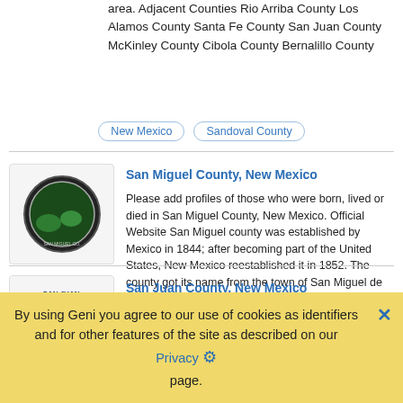area. Adjacent Counties Rio Arriba County Los Alamos County Santa Fe County San Juan County McKinley County Cibola County Bernalillo County
New Mexico
Sandoval County
San Miguel County, New Mexico
Please add profiles of those who were born, lived or died in San Miguel County, New Mexico. Official Website San Miguel county was established by Mexico in 1844; after becoming part of the United States, New Mexico reestablished it in 1852. The county got its name from the town of San Miguel de Bado which was a crossing at the Pecos River on the Old Spanish Trail. Adjacent Counties Mo...
San Miguel County
New Mexico
San Juan County, New Mexico
Please add profiles of those who were born, lived or died in San Juan County, New Mexico. Official
By using Geni you agree to our use of cookies as identifiers and for other features of the site as described on our Privacy page.